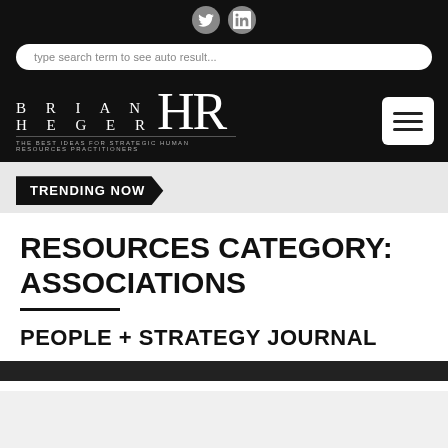[Figure (logo): Social media icons (Twitter and LinkedIn) on dark background]
type search term to see auto result...
[Figure (logo): Brian Heger HR logo with tagline: The best ideas for strategic Human Resources practitioners]
TRENDING NOW
RESOURCES CATEGORY: ASSOCIATIONS
PEOPLE + STRATEGY JOURNAL